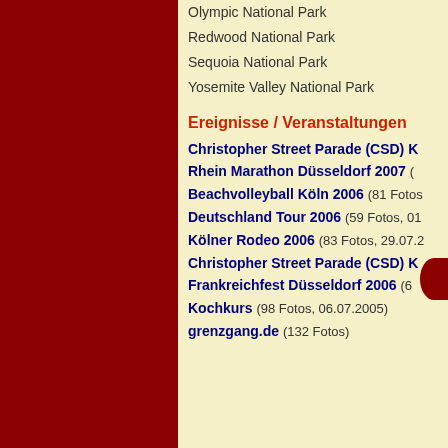Olympic National Park
Redwood National Park
Sequoia National Park
Yosemite Valley National Park
Ereignisse / Veranstaltungen
Christopher Street Parade (CSD) K…
Rhein Marathon Düsseldorf 2007
Beachvolleyball Köln 2006  (81 Fotos…)
Deutschland Tour 2006  (59 Fotos, 01…)
Kölner Rodeo 2006  (83 Fotos, 29.07.2…)
Christopher Street Parade (CSD) K…
Frankreichfest Düsseldorf 2006  (6…)
Kochkurs  (98 Fotos, 06.07.2005)
grenzgang.de  (132 Fotos)